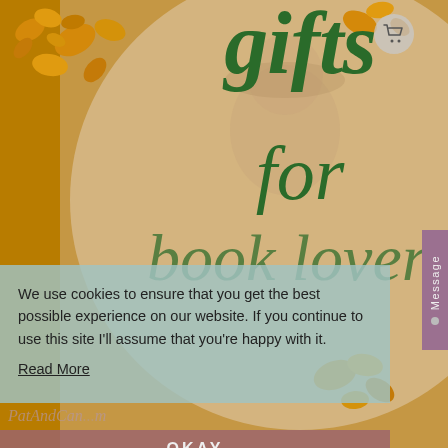[Figure (illustration): Website screenshot showing a book gifts page with illustrated woman reading, autumn leaves on golden-brown background, overlaid with a cookie consent popup and Message tab on the right side.]
gifts for book lovers
We use cookies to ensure that you get the best possible experience on our website. If you continue to use this site I'll assume that you're happy with it.
Read More
OKAY
Message
PatAndCan...m